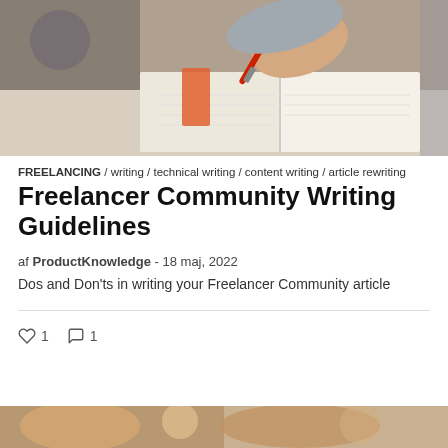[Figure (photo): Close-up photo of a hand holding a red pen, writing in an open notebook, with an orange bookmark visible]
FREELANCING / writing / technical writing / content writing / article rewriting
Freelancer Community Writing Guidelines
af ProductKnowledge - 18 maj, 2022
Dos and Don'ts in writing your Freelancer Community article
♡ 1  ○ 1
[Figure (photo): Partial photo at bottom of page, cropped view of people]